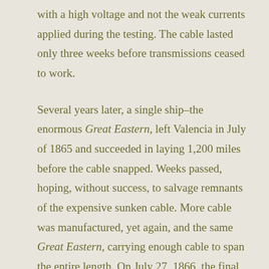with a high voltage and not the weak currents applied during the testing. The cable lasted only three weeks before transmissions ceased to work.

Several years later, a single ship–the enormous Great Eastern, left Valencia in July of 1865 and succeeded in laying 1,200 miles before the cable snapped. Weeks passed, hoping, without success, to salvage remnants of the expensive sunken cable. More cable was manufactured, yet again, and the same Great Eastern, carrying enough cable to span the entire length. On July 27, 1866, the final end of the cable was pulled ashore at the tiny Newfoundland fishing village known as Heart's Content. The Great Eastern had laid an